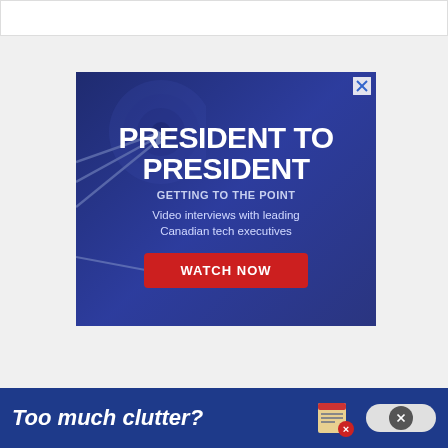[Figure (screenshot): Top white content area strip at the top of the page]
[Figure (infographic): Advertisement banner: dark blue background with dart images on the left. Text reads: PRESIDENT TO PRESIDENT, GETTING TO THE POINT, Video interviews with leading Canadian tech executives, with a red WATCH NOW button. A small X close button is in the top right corner.]
[Figure (infographic): Bottom blue banner advertisement reading 'Too much clutter?' with a newspaper icon and a close button (X in a circular badge next to a grey pill button).]